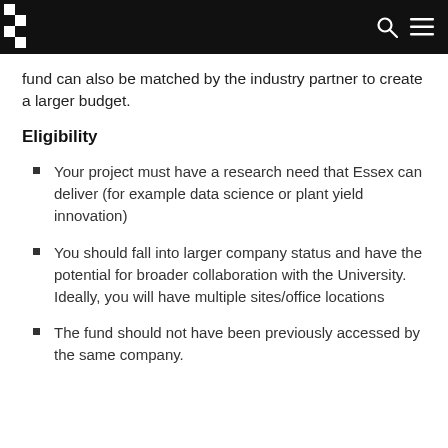fund can also be matched by the industry partner to create a larger budget.
Eligibility
Your project must have a research need that Essex can deliver (for example data science or plant yield innovation)
You should fall into larger company status and have the potential for broader collaboration with the University. Ideally, you will have multiple sites/office locations
The fund should not have been previously accessed by the same company.